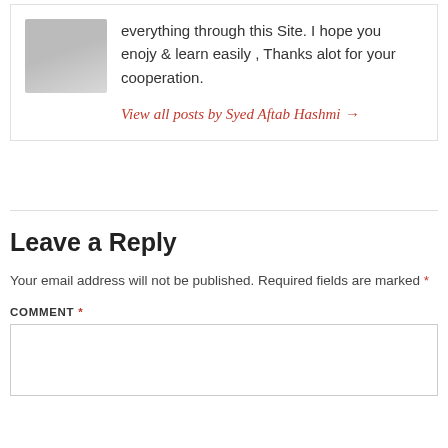everything through this Site. I hope you enojy & learn easily , Thanks alot for your cooperation.
View all posts by Syed Aftab Hashmi →
Leave a Reply
Your email address will not be published. Required fields are marked *
COMMENT *